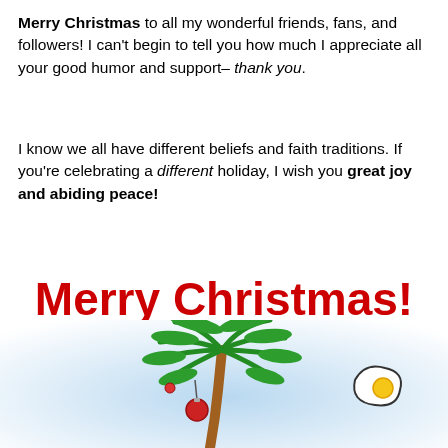Merry Christmas to all my wonderful friends, fans, and followers! I can't begin to tell you how much I appreciate all your good humor and support– thank you.
I know we all have different beliefs and faith traditions. If you're celebrating a different holiday, I wish you great joy and abiding peace!
Merry Christmas!
[Figure (illustration): A tropical Christmas card illustration showing a palm tree decorated with an ornament on a light blue sky background, with a fried egg (sun) in the upper right corner. Christmas ornaments hang from the palm fronds.]